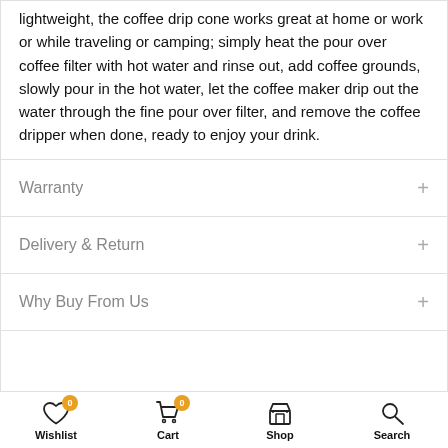lightweight, the coffee drip cone works great at home or work or while traveling or camping; simply heat the pour over coffee filter with hot water and rinse out, add coffee grounds, slowly pour in the hot water, let the coffee maker drip out the water through the fine pour over filter, and remove the coffee dripper when done, ready to enjoy your drink.
Warranty
Delivery & Return
Why Buy From Us
Wishlist  Cart  Shop  Search